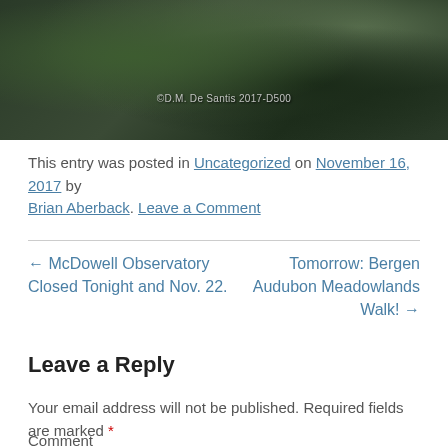[Figure (photo): Dark nature/tree photo with copyright watermark: ©D.M. De Santis 2017-D500]
This entry was posted in Uncategorized on November 16, 2017 by Brian Aberback. Leave a Comment
← McDowell Observatory Closed Tonight and Nov. 22.
Tomorrow: Bergen Audubon Meadowlands Walk! →
Leave a Reply
Your email address will not be published. Required fields are marked *
Comment